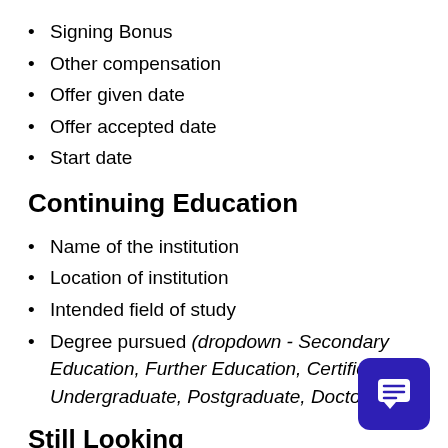Signing Bonus
Other compensation
Offer given date
Offer accepted date
Start date
Continuing Education
Name of the institution
Location of institution
Intended field of study
Degree pursued (dropdown - Secondary Education, Further Education, Certificate, Undergraduate, Postgraduate, Doctorate)
Still Looking